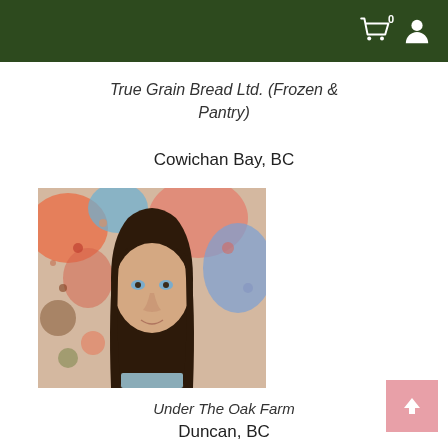Navigation header with cart (0) and user icon
True Grain Bread Ltd. (Frozen & Pantry)
Cowichan Bay, BC
[Figure (photo): Portrait photo of a woman with long dark brown hair and blue eyes, smiling slightly, with a colorful abstract painting in the background]
Under The Oak Farm
Duncan, BC